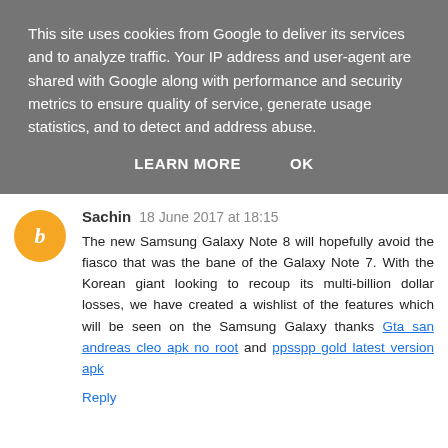This site uses cookies from Google to deliver its services and to analyze traffic. Your IP address and user-agent are shared with Google along with performance and security metrics to ensure quality of service, generate usage statistics, and to detect and address abuse.
LEARN MORE   OK
Sachin  18 June 2017 at 18:15
The new Samsung Galaxy Note 8 will hopefully avoid the fiasco that was the bane of the Galaxy Note 7. With the Korean giant looking to recoup its multi-billion dollar losses, we have created a wishlist of the features which will be seen on the Samsung Galaxy thanks Gta san andreas cleo apk no root and ppsspp gold latest version apk
Reply
Salman Bhai  20 June 2017 at 08:05
sbi Freedom apk file downloadAs you knew that more than 2.2 million applications are available on different application